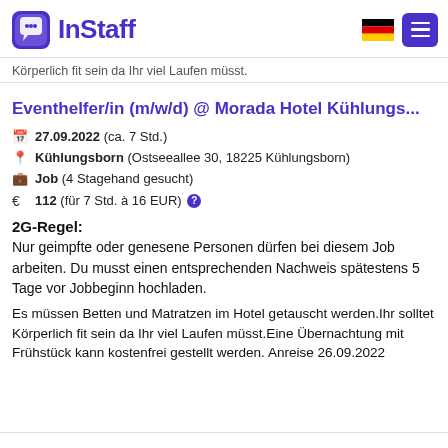[Figure (logo): InStaff logo with purple icon and text, German flag, and purple hamburger menu button]
Körperlich fit sein da Ihr viel Laufen müsst.
Eventhelfer/in (m/w/d) @ Morada Hotel Kühlungs...
27.09.2022 (ca. 7 Std.)
Kühlungsborn (Ostseeallee 30, 18225 Kühlungsborn)
Job (4 Stagehand gesucht)
€ 112 (für 7 Std. à 16 EUR)
2G-Regel:
Nur geimpfte oder genesene Personen dürfen bei diesem Job arbeiten. Du musst einen entsprechenden Nachweis spätestens 5 Tage vor Jobbeginn hochladen.
Es müssen Betten und Matratzen im Hotel getauscht werden.Ihr solltet Körperlich fit sein da Ihr viel Laufen müsst.Eine Übernachtung mit Frühstück kann kostenfrei gestellt werden. Anreise 26.09.2022